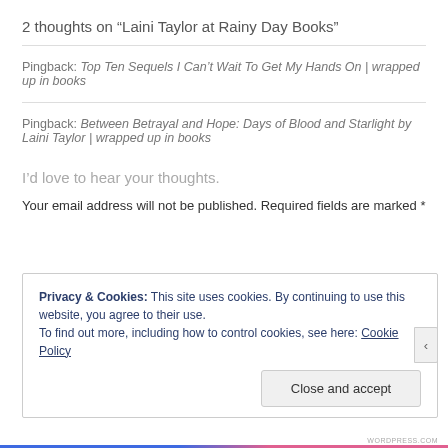2 thoughts on “Laini Taylor at Rainy Day Books”
Pingback: Top Ten Sequels I Can’t Wait To Get My Hands On | wrapped up in books
Pingback: Between Betrayal and Hope: Days of Blood and Starlight by Laini Taylor | wrapped up in books
I’d love to hear your thoughts.
Your email address will not be published. Required fields are marked *
Privacy & Cookies: This site uses cookies. By continuing to use this website, you agree to their use. To find out more, including how to control cookies, see here: Cookie Policy